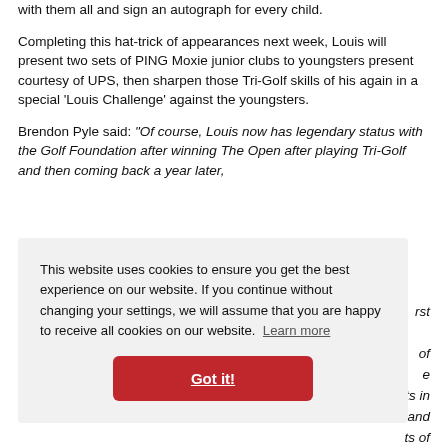with them all and sign an autograph for every child.
Completing this hat-trick of appearances next week, Louis will present two sets of PING Moxie junior clubs to youngsters present courtesy of UPS, then sharpen those Tri-Golf skills of his again in a special ‘Louis Challenge’ against the youngsters.
Brendon Pyle said: “Of course, Louis now has legendary status with the Golf Foundation after winning The Open after playing Tri-Golf and then coming back a year later,
This website uses cookies to ensure you get the best experience on our website. If you continue without changing your settings, we will assume that you are happy to receive all cookies on our website. Learn more
Got it!